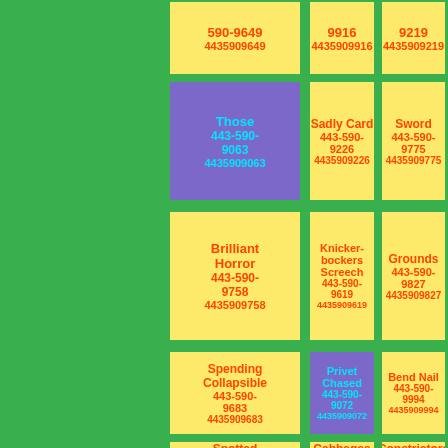| 590-9649
4435909649 | 9916
4435909916 | 9219
4435909219 |
| Those 443-590-9063
4435909063 | Sadly Card 443-590-9226
4435909226 | Sword 443-590-9775
4435909775 |
| Brilliant Horror 443-590-9758
4435909758 | Knickerbockers Screech 443-590-9619
4435909619 | Grounds 443-590-9827
4435909827 |
| Spending Collapsible 443-590-9683
4435909683 | Privet Chased 443-590-9072
4435909072 | Bend Nail 443-590-9994
4435909994 |
| Spotted | Cabbages | Constrictors |